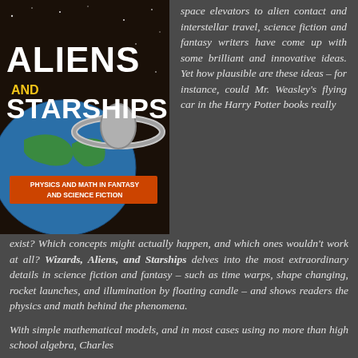[Figure (illustration): Book cover for 'Wizards, Aliens and Starships: Physics and Math in Fantasy and Science Fiction'. Dark background with large white text 'ALIENS AND STARSHIPS', yellow subtitle banner, and illustration of Earth with a ringed spacecraft.]
space elevators to alien contact and interstellar travel, science fiction and fantasy writers have come up with some brilliant and innovative ideas. Yet how plausible are these ideas – for instance, could Mr. Weasley's flying car in the Harry Potter books really exist? Which concepts might actually happen, and which ones wouldn't work at all? Wizards, Aliens, and Starships delves into the most extraordinary details in science fiction and fantasy – such as time warps, shape changing, rocket launches, and illumination by floating candle – and shows readers the physics and math behind the phenomena.
With simple mathematical models, and in most cases using no more than high school algebra, Charles